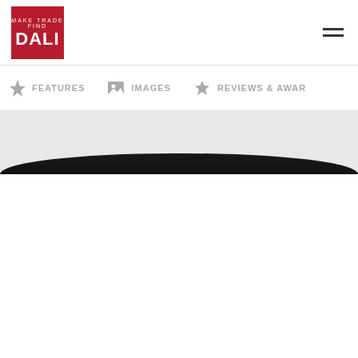[Figure (logo): DALI logo: white text on red square background]
FEATURES   IMAGES   REVIEWS & AWARDS
[Figure (photo): Product image - dark speaker or audio equipment partially visible]
This website stores cookies on your computer. These cookies are used to collect information about how you interact with our website and allow us to remember you. We use this information in order to improve and customize your browsing experience and for analytics and metrics about our visitors both on this website and other media. To find out more about the cookies we use, see our Privacy Policy
If you decline, your information won't be tracked when you visit this website. A single cookie will be used in your browser to remember your preference not to be tracked.
Cookies settings   Accept   Decline